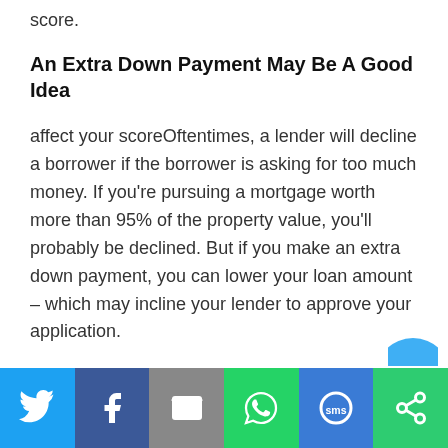score.
An Extra Down Payment May Be A Good Idea
affect your scoreOftentimes, a lender will decline a borrower if the borrower is asking for too much money. If you're pursuing a mortgage worth more than 95% of the property value, you'll probably be declined. But if you make an extra down payment, you can lower your loan amount – which may incline your lender to approve your application.
If you've been declined for a mortgage, don't give up. There are steps you can take to get
[Figure (infographic): Social sharing bar with Twitter, Facebook, Email, WhatsApp, SMS, and other sharing icons on colored backgrounds]